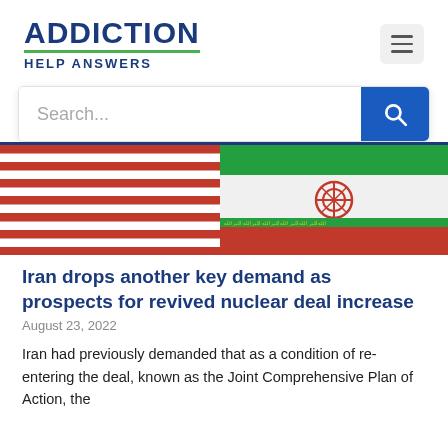ADDICTION HELP ANSWERS
[Figure (screenshot): Search bar with placeholder text 'Search...' and a blue search button with magnifying glass icon]
[Figure (photo): Photo showing American flag on the left and Iranian flag on the right side by side]
Iran drops another key demand as prospects for revived nuclear deal increase
August 23, 2022
Iran had previously demanded that as a condition of re-entering the deal, known as the Joint Comprehensive Plan of Action, the